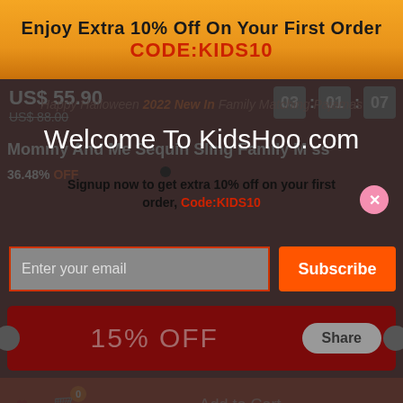Enjoy Extra 10% Off On Your First Order CODE:KIDS10
Welcome To KidsHoo.com
Signup now to get extra 10% off on your first order, Code:KIDS10
Enter your email
Subscribe
US$ 55.90 US$ 88.00
Happy Halloween 2022 New In Family Matching Pajamas
03 : 01 : 07
Mommy And Me Sequin Sling Family Matching Dress
36.48% OFF
15% OFF
Share
Add to Cart